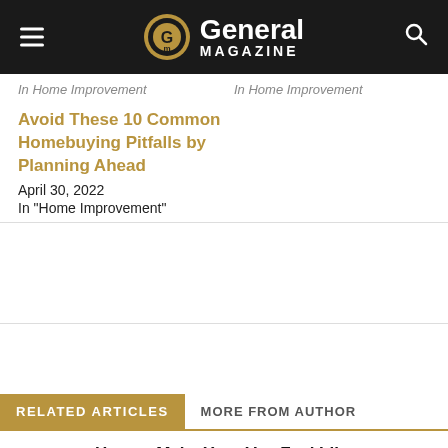General MAGAZINE
In  Home Improvement    In  Home Improvement
Avoid These 10 Common Homebuying Pitfalls by Planning Ahead
April 30, 2022
In "Home Improvement"
RELATED ARTICLES  MORE FROM AUTHOR
How to Make Your Van Feel Like Home on The Road